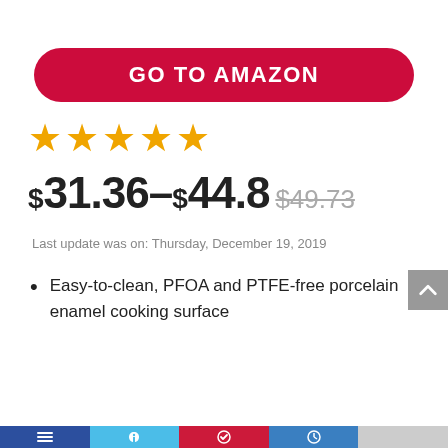GO TO AMAZON
★★★★★
$31.36–$44.8 $49.73
Last update was on: Thursday, December 19, 2019
Easy-to-clean, PFOA and PTFE-free porcelain enamel cooking surface